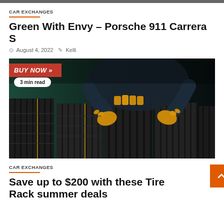CAR EXCHANGES
Green With Envy – Porsche 911 Carrera S
August 4, 2022   Kelli
[Figure (photo): Person in dark clothing and yellow gloves leaning on multiple car tires, with a 'BUY NOW »' red badge and '3 min read' pill overlay]
CAR EXCHANGES
Save up to $200 with these Tire Rack summer deals